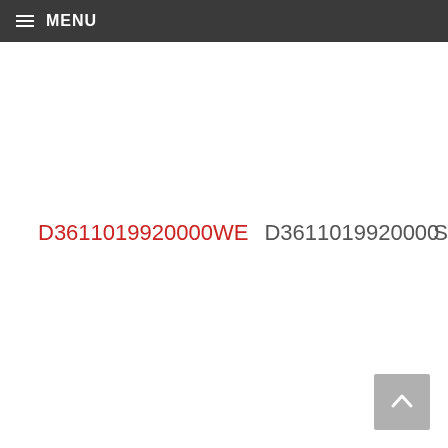≡ MENU
D3611019920000WE   D3611019920000   S